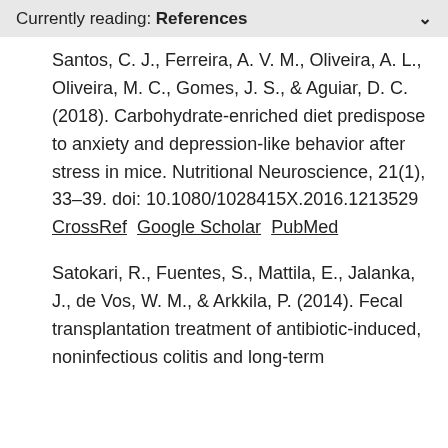Currently reading: References
Santos, C. J., Ferreira, A. V. M., Oliveira, A. L., Oliveira, M. C., Gomes, J. S., & Aguiar, D. C. (2018). Carbohydrate-enriched diet predispose to anxiety and depression-like behavior after stress in mice. Nutritional Neuroscience, 21(1), 33–39. doi: 10.1080/1028415X.2016.1213529 CrossRef  Google Scholar  PubMed
Satokari, R., Fuentes, S., Mattila, E., Jalanka, J., de Vos, W. M., & Arkkila, P. (2014). Fecal transplantation treatment of antibiotic-induced, noninfectious colitis and long-term